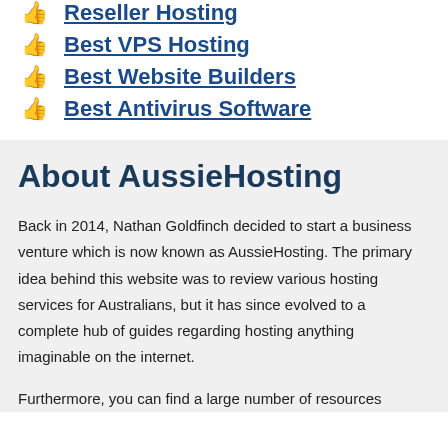Reseller Hosting
Best VPS Hosting
Best Website Builders
Best Antivirus Software
About AussieHosting
Back in 2014, Nathan Goldfinch decided to start a business venture which is now known as AussieHosting. The primary idea behind this website was to review various hosting services for Australians, but it has since evolved to a complete hub of guides regarding hosting anything imaginable on the internet.
Furthermore, you can find a large number of resources